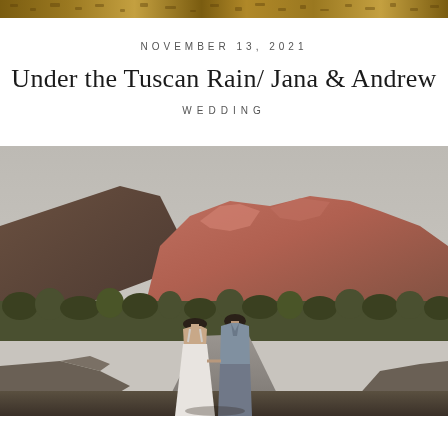[Figure (photo): Decorative top banner with warm golden-brown textured pattern]
NOVEMBER 13, 2021
Under the Tuscan Rain/ Jana & Andrew
WEDDING
[Figure (photo): Wedding couple walking away from camera on a road, holding hands, mountains with pink/red rocky peaks in background, lush green trees, overcast sky. Bride in white backless dress, groom in grey suit.]